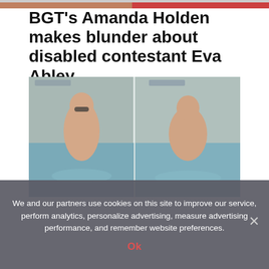[Figure (photo): Top strip showing partial images of people]
BGT's Amanda Holden makes blunder about disabled contestant Eva Abley
[Figure (photo): Two side-by-side photos of a woman in a swimming pool]
We and our partners use cookies on this site to improve our service, perform analytics, personalize advertising, measure advertising performance, and remember website preferences.
Ok